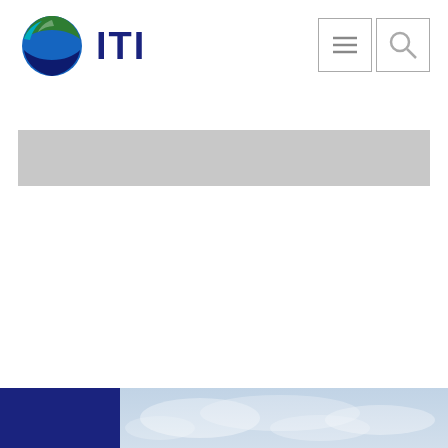[Figure (logo): ITI company logo with blue-green globe icon and dark blue ITI text]
[Figure (other): Navigation menu icon (hamburger lines) in grey box]
[Figure (other): Search magnifying glass icon in grey box]
[Figure (other): Grey horizontal banner bar below header]
[Figure (photo): Bottom strip with dark navy blue block on left and sky/clouds photo on right]